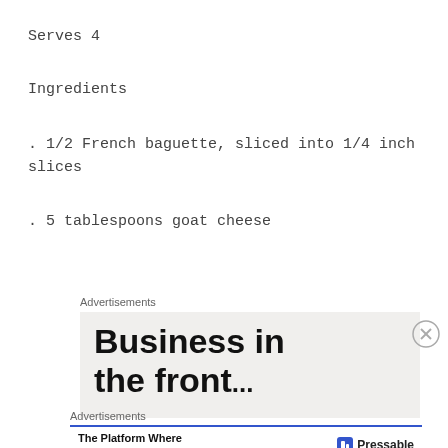Serves 4
Ingredients
. 1/2 French baguette, sliced into 1/4 inch slices
. 5 tablespoons goat cheese
Advertisements
[Figure (other): Advertisement banner reading 'Business in the front...' with large bold sans-serif text on a light beige background]
Advertisements
[Figure (other): Pressable advertisement: 'The Platform Where WordPress Works Best' with Pressable logo on white background with blue top border]